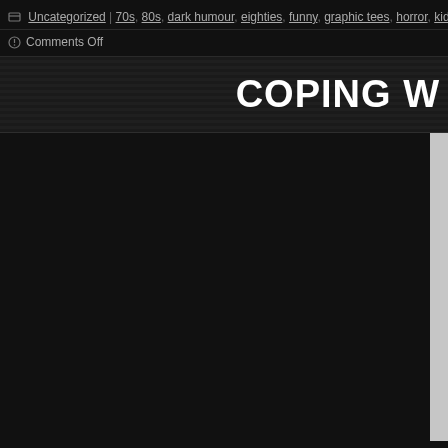Uncategorized | 70s, 80s, dark humour, eighties, funny, graphic tees, horror, kids book
Comments Off
COPING W
[Figure (photo): Partially visible image with light grey color, cropped on the right side of a dark background page layout]